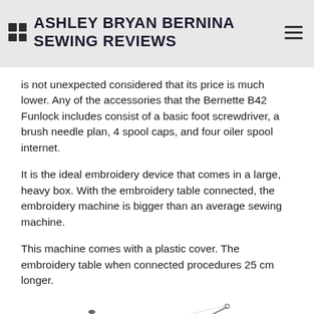ASHLEY BRYAN BERNINA SEWING REVIEWS
is not unexpected considered that its price is much lower. Any of the accessories that the Bernette B42 Funlock includes consist of a basic foot screwdriver, a brush needle plan, 4 spool caps, and four oiler spool internet.
It is the ideal embroidery device that comes in a large, heavy box. With the embroidery table connected, the embroidery machine is bigger than an average sewing machine.
This machine comes with a plastic cover. The embroidery table when connected procedures 25 cm longer.
[Figure (illustration): Black and white vintage illustration of a sewing machine viewed from the side, showing detailed mechanical components including the needle arm, bobbin area, and decorative cast iron frame.]